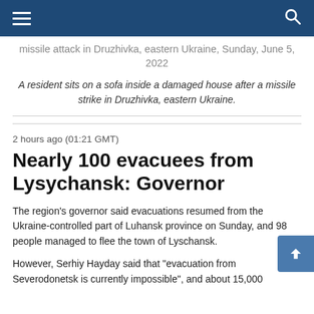Navigation bar with hamburger menu and search icon
A resident sits on a sofa inside a house damaged after a missile attack in Druzhivka, eastern Ukraine, Sunday, June 5, 2022
A resident sits on a sofa inside a damaged house after a missile strike in Druzhivka, eastern Ukraine.
2 hours ago (01:21 GMT)
Nearly 100 evacuees from Lysychansk: Governor
The region's governor said evacuations resumed from the Ukraine-controlled part of Luhansk province on Sunday, and 98 people managed to flee the town of Lyschansk.
However, Serhiy Hayday said that "evacuation from Severodonetsk is currently impossible", and about 15,000